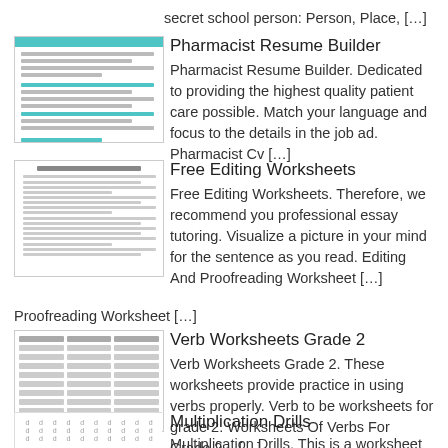secret school person: Person, Place, […]
Pharmacist Resume Builder
Pharmacist Resume Builder. Dedicated to providing the highest quality patient care possible. Match your language and focus to the details in the job ad. Pharmacist Cv […]
Free Editing Worksheets
Free Editing Worksheets. Therefore, we recommend you professional essay tutoring. Visualize a picture in your mind for the sentence as you read. Editing And Proofreading Worksheet […]
Verb Worksheets Grade 2
Verb Worksheets Grade 2. These worksheets provide practice in using verbs properly. Verb to be worksheets for grade 2. Worksheets Of Verbs For Grade 2 – […]
Multiplication Drills
Multiplication Drills. This is a worksheet for